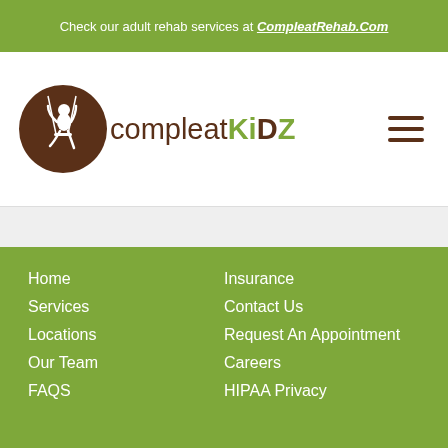Check our adult rehab services at CompleatRehab.Com
[Figure (logo): CompleatKiDZ logo with brown circle containing a child on a swing, followed by the text 'compleatKiDZ' in brown and green]
Home
Services
Locations
Our Team
FAQS
Insurance
Contact Us
Request An Appointment
Careers
HIPAA Privacy